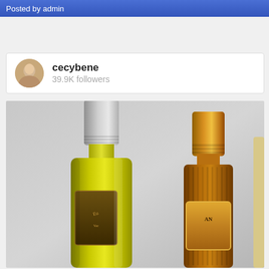Posted by admin
cecybene
39.9K followers
[Figure (photo): Instagram post from user cecybene (39.9K followers) showing two perfume/fragrance spray bottles side by side. Left bottle has a silver/matte cap and contains yellow-green liquid with a dark label. Right bottle has a gold cap and contains amber liquid with a decorative gold label. A third bottle is partially visible at the far right edge.]